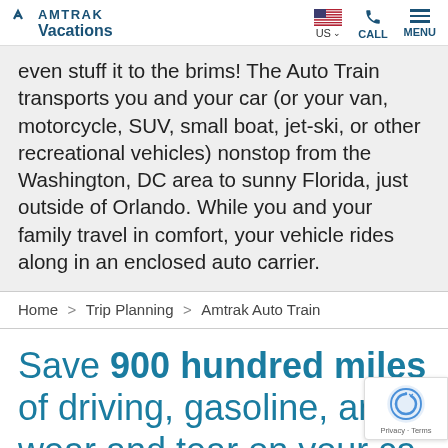Amtrak Vacations — US — CALL — MENU
even stuff it to the brims! The Auto Train transports you and your car (or your van, motorcycle, SUV, small boat, jet-ski, or other recreational vehicles) nonstop from the Washington, DC area to sunny Florida, just outside of Orlando. While you and your family travel in comfort, your vehicle rides along in an enclosed auto carrier.
Home > Trip Planning > Amtrak Auto Train
Save 900 hundred miles of driving, gasoline, and wear and tear on your ca